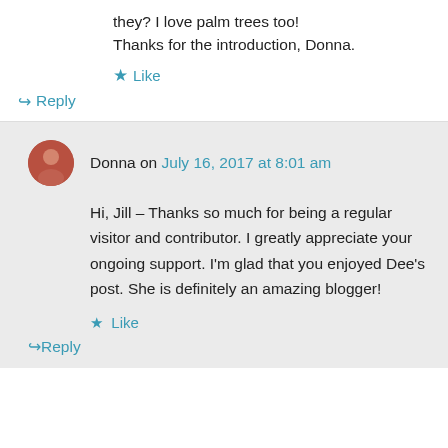they? I love palm trees too!
Thanks for the introduction, Donna.
★ Like
↪ Reply
Donna on July 16, 2017 at 8:01 am
Hi, Jill – Thanks so much for being a regular visitor and contributor. I greatly appreciate your ongoing support. I'm glad that you enjoyed Dee's post. She is definitely an amazing blogger!
★ Like
↪ Reply